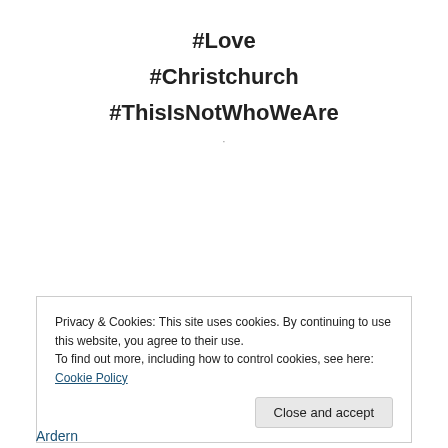#Love
#Christchurch
#ThisIsNotWhoWeAre
Privacy & Cookies: This site uses cookies. By continuing to use this website, you agree to their use.
To find out more, including how to control cookies, see here: Cookie Policy
Close and accept
Ardern